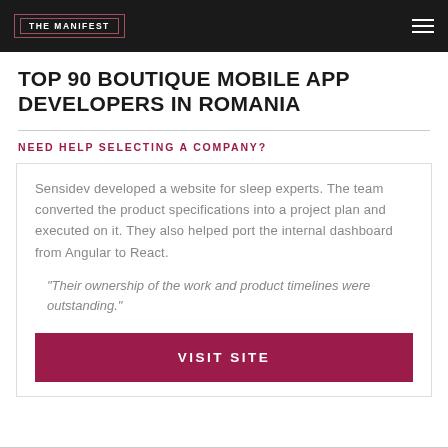THE MANIFEST
TOP 90 BOUTIQUE MOBILE APP DEVELOPERS IN ROMANIA
NEED HELP SELECTING A COMPANY?
Sensidev developed a website for sleep experts. The team converted the product specifications into a project plan and executed on it. They also helped port the internal dashboard from Angular to React.
"Their ownership of the work and product timelines were outstanding."
VISIT SITE